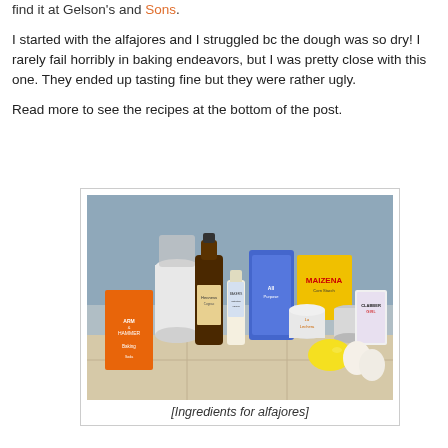find it at Gelson's and Sons.
I started with the alfajores and I struggled bc the dough was so dry! I rarely fail horribly in baking endeavors, but I was pretty close with this one. They ended up tasting fine but they were rather ugly.
Read more to see the recipes at the bottom of the post.
[Figure (photo): Photo of baking ingredients for alfajores laid out on a tiled counter: Arm & Hammer baking soda, a jar/bottle of Hennessy, Baker's imitation vanilla flavor, a blue bag of all-purpose flour, Maizena cornstarch box, La Lechera condensed milk can, a small glass jar, Clabber Girl product, a lemon, and eggs.]
[Ingredients for alfajores]